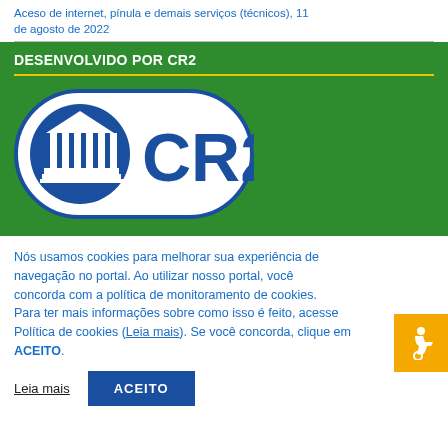Aceso de internet, pínula e demais serviços (técnicos), 11 de agosto de 2022
DESENVOLVIDO POR CR2
[Figure (logo): CR2 company logo — blue oval with white building/columns icon on the left and large blue CR2 text on the right, on a green background]
Nós usamos cookies para melhorar sua experiência de navegação no portal. Ao utilizar nosso portal, você concorda com a política de monitoramento de cookies. Para ter mais informações sobre como isso é feito, acesse Política de cookies (Leia mais). Se você concorda, clique em ACEITO.
Leia mais
ACEITO